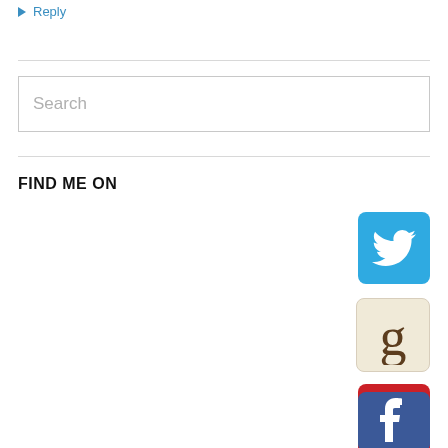↳ Reply
[Figure (screenshot): Search input box with placeholder text 'Search']
FIND ME ON
[Figure (logo): Twitter social media icon - blue square with white bird logo]
[Figure (logo): Goodreads icon - cream/beige square with lowercase 'g' letter]
[Figure (logo): Pinterest icon - red square with white 'P' logo]
[Figure (logo): Facebook icon - blue square with white 'f' logo (partially visible at bottom)]